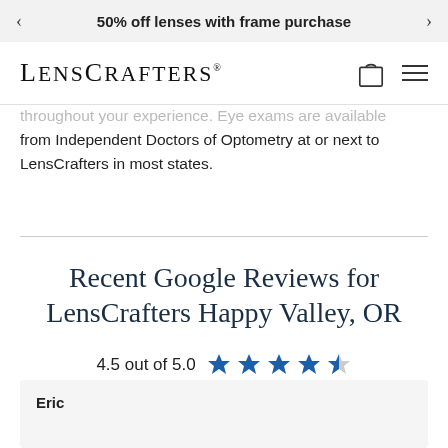50% off lenses with frame purchase
LensCrafters
throughout your experience. Eye exams are available from Independent Doctors of Optometry at or next to LensCrafters in most states.
Recent Google Reviews for LensCrafters Happy Valley, OR
4.5 out of 5.0
(167 Google Reviews)
Eric